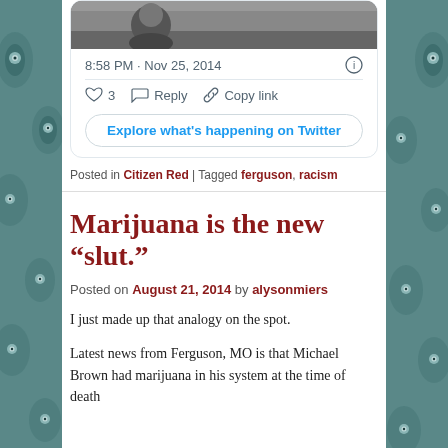[Figure (screenshot): Twitter/X post card showing a black and white photo at top, timestamp 8:58 PM · Nov 25, 2014, heart icon with 3 likes, Reply button, Copy link button, and Explore what's happening on Twitter button]
Posted in Citizen Red | Tagged ferguson, racism
Marijuana is the new “slut.”
Posted on August 21, 2014 by alysonmiers
I just made up that analogy on the spot.
Latest news from Ferguson, MO is that Michael Brown had marijuana in his system at the time of death